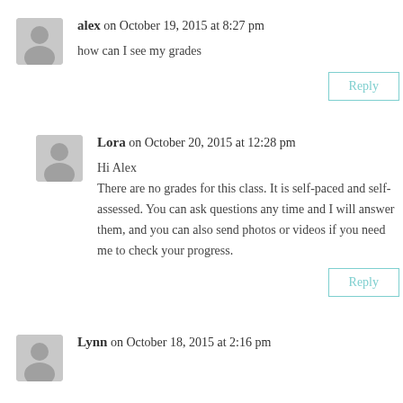alex on October 19, 2015 at 8:27 pm
how can I see my grades
Reply
Lora on October 20, 2015 at 12:28 pm
Hi Alex
There are no grades for this class. It is self-paced and self-assessed. You can ask questions any time and I will answer them, and you can also send photos or videos if you need me to check your progress.
Reply
Lynn on October 18, 2015 at 2:16 pm